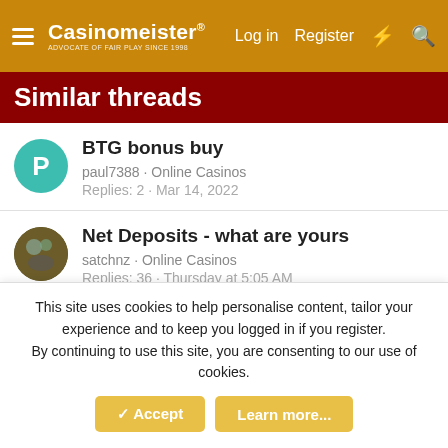Casinomeister — Log in | Register
Similar threads
BTG bonus buy
paul7388 · Online Casinos
Replies: 2 · Mar 14, 2022
Net Deposits - what are yours
satchnz · Online Casinos
Replies: 36 · Thursday at 5:05 AM
Question 32 Red unresponsive
Thestump · Online Casinos
Replies: 2 · Jun 14, 2022
The great Slots Are Rigged tournament
This site uses cookies to help personalise content, tailor your experience and to keep you logged in if you register.
By continuing to use this site, you are consenting to our use of cookies.